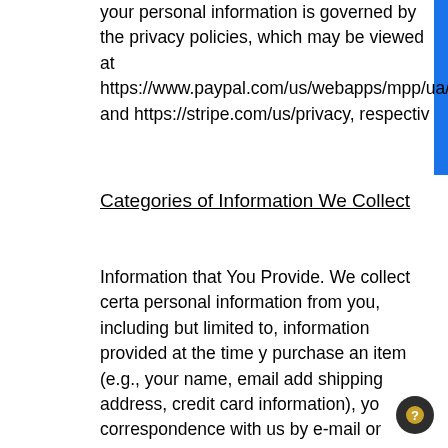your personal information is governed by the privacy policies, which may be viewed at https://www.paypal.com/us/webapps/mpp/ua/full and https://stripe.com/us/privacy, respectively.
Categories of Information We Collect
Information that You Provide. We collect certain personal information from you, including but not limited to, information provided at the time you purchase an item (e.g., your name, email address, shipping address, credit card information), your correspondence with us by e-mail or phone, your responses to any surveys we might ask you to complete, and information from Third Party Sites that you give us access to (collectively, your "Personal Information").